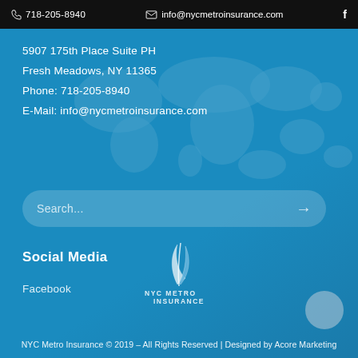718-205-8940  info@nycmetroinsurance.com
5907 175th Place Suite PH
Fresh Meadows, NY 11365
Phone: 718-205-8940
E-Mail: info@nycmetroinsurance.com
Search...
Social Media
Facebook
[Figure (logo): NYC Metro Insurance logo with icon and text]
NYC Metro Insurance © 2019 – All Rights Reserved | Designed by Acore Marketing